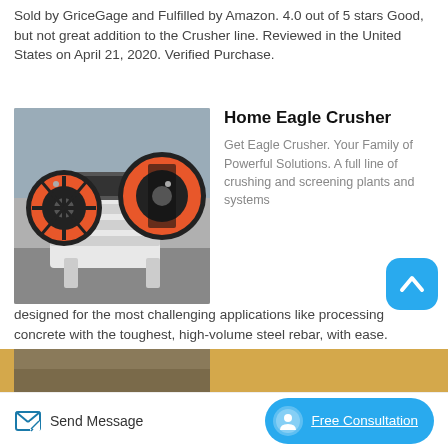Sold by GriceGage and Fulfilled by Amazon. 4.0 out of 5 stars Good, but not great addition to the Crusher line. Reviewed in the United States on April 21, 2020. Verified Purchase.
[Figure (photo): Photo of a white industrial jaw crusher machine with orange and black wheels/flywheels, placed outdoors]
Home Eagle Crusher
Get Eagle Crusher. Your Family of Powerful Solutions. A full line of crushing and screening plants and systems designed for the most challenging applications like processing concrete with the toughest, high-volume steel rebar, with ease. Processing the most abrasive hard rock without equipment fatigue.
[Figure (logo): TopMate app icon — blue rounded square with white upward chevron symbol]
[Figure (photo): Partial view of another product image at the bottom of the page]
Send Message
Free Consultation